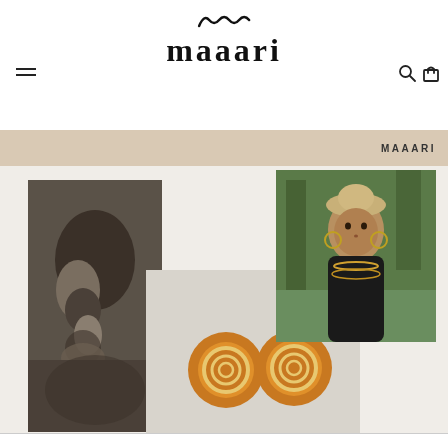maaari
MAAARI
[Figure (photo): Black and white close-up photo of a person's ear wearing a large spiral hoop earring]
[Figure (photo): Product photo of two round amber/orange earrings with concentric gold circle design on light grey background]
[Figure (photo): Color photo of a young girl wearing traditional tribal jewelry including large hoop earrings and necklaces, with trees in background]